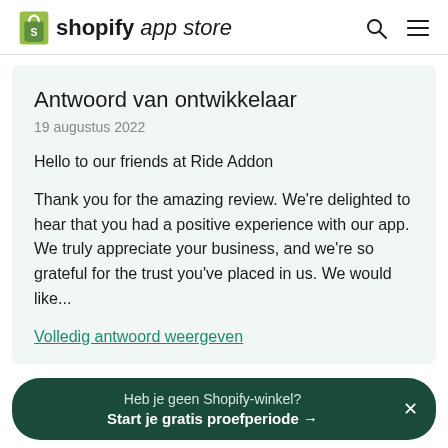shopify app store
Antwoord van ontwikkelaar
19 augustus 2022
Hello to our friends at Ride Addon
Thank you for the amazing review. We're delighted to hear that you had a positive experience with our app. We truly appreciate your business, and we're so grateful for the trust you've placed in us. We would like...
Volledig antwoord weergeven
Heb je geen Shopify-winkel? Start je gratis proefperiode →